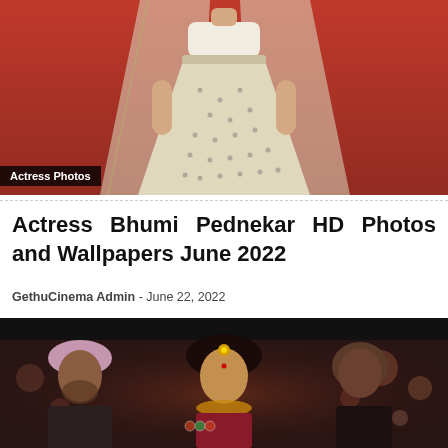[Figure (photo): Actress in white embroidered lehenga against a red background]
Actress Photos
Actress Bhumi Pednekar HD Photos and Wallpapers June 2022
GethuCinema Admin  -  June 22, 2022
[Figure (photo): Scene with people in traditional Indian wedding attire including a man in pink turban and a bride with jewelry]